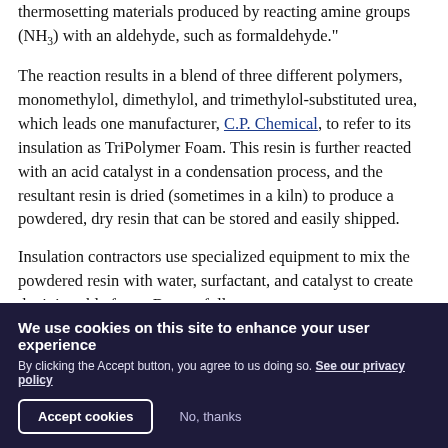thermosetting materials produced by reacting amine groups (NH₃) with an aldehyde, such as formaldehyde."
The reaction results in a blend of three different polymers, monomethylol, dimethylol, and trimethylol-substituted urea, which leads one manufacturer, C.P. Chemical, to refer to its insulation as TriPolymer Foam. This resin is further reacted with an acid catalyst in a condensation process, and the resultant resin is dried (sometimes in a kiln) to produce a powdered, dry resin that can be stored and easily shipped.
Insulation contractors use specialized equipment to mix the powdered resin with water, surfactant, and catalyst to create the injectable foam. By carefully
We use cookies on this site to enhance your user experience
By clicking the Accept button, you agree to us doing so. See our privacy policy
Accept cookies    No, thanks